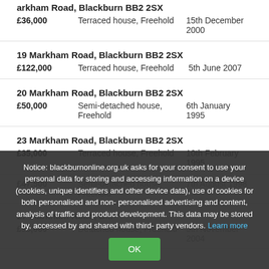arkham Road, Blackburn BB2 2SX
£36,000 | Terraced house, Freehold | 15th December 2000
19 Markham Road, Blackburn BB2 2SX | £122,000 | Terraced house, Freehold | 5th June 2007
20 Markham Road, Blackburn BB2 2SX | £50,000 | Semi-detached house, Freehold | 6th January 1995
23 Markham Road, Blackburn BB2 2SX | £35,000 | Terraced house, Freehold | 10th February 1995
£47,500 | Semi-detached house, Freehold | 7th August 1998
27 Markham Road, Blackburn BB2 2SX | £95,000 | Detached house, Freehold | 5th November 2004
Notice: blackburnonline.org.uk asks for your consent to use your personal data for storing and accessing information on a device (cookies, unique identifiers and other device data), use of cookies for both personalised and non-personalised advertising and content, analysis of traffic and product development. This data may be stored by, accessed by and shared with third-party vendors. Learn more